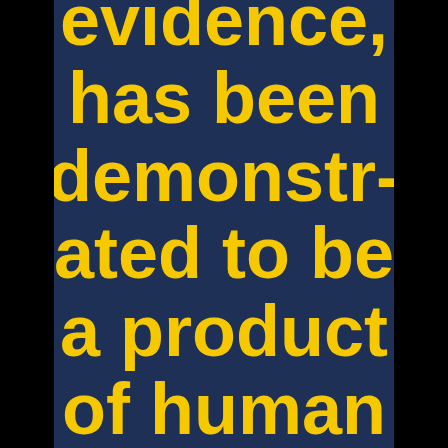evidence, has been demonstrated to be a product of human